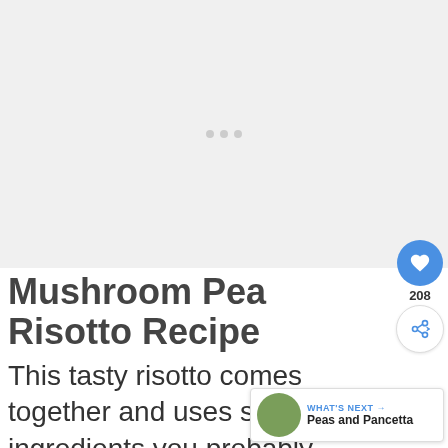[Figure (photo): Large placeholder image area with light gray background and three small gray dots centered in the middle]
Mushroom Pea Risotto Recipe
This tasty risotto comes together and uses simple ingredients you probably already have on hand. Use a skillet for